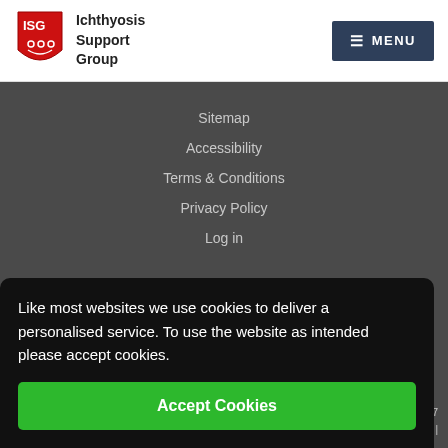[Figure (logo): ISG Ichthyosis Support Group logo with red shield containing a face icon]
Ichthyosis Support Group
Sitemap
Accessibility
Terms & Conditions
Privacy Policy
Log in
Like most websites we use cookies to deliver a personalised service. To use the website as intended please accept cookies.
Accept Cookies
2457 nd Wales |